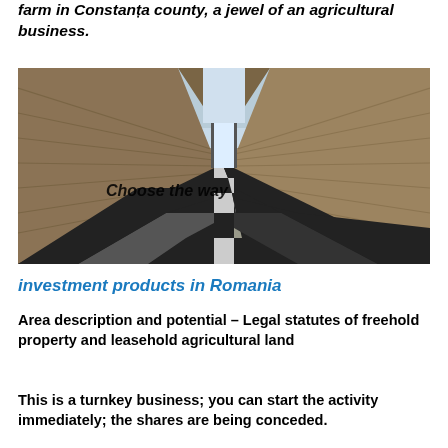farm in Constanța county, a jewel of an agricultural business.
[Figure (photo): Interior corridor with wooden plank walls and ceiling, black and white checkered floor leading to a bright doorway at the end. Text overlay reads 'Choose the way'.]
investment products in Romania
Area description and potential – Legal statutes of freehold property and leasehold agricultural land
This is a turnkey business; you can start the activity immediately; the shares are being conceded.